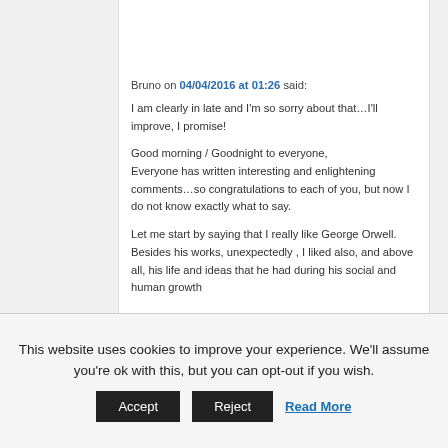[Figure (illustration): Cartoon avatar of a green alien/monster character with big eyes, pink arms, and yellow feet]
Bruno on 04/04/2016 at 01:26 said:
I am clearly in late and I'm so sorry about that…I'll improve, I promise!

Good morning / Goodnight to everyone,
Everyone has written interesting and enlightening comments…so congratulations to each of you, but now I do not know exactly what to say.

Let me start by saying that I really like George Orwell.
Besides his works, unexpectedly , I liked also, and above all, his life and ideas that he had during his social and human growth
This website uses cookies to improve your experience. We'll assume you're ok with this, but you can opt-out if you wish.